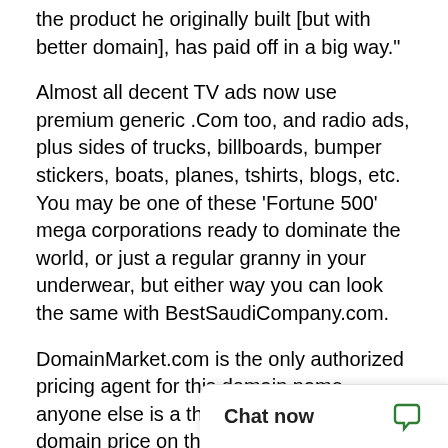the product he originally built [but with better domain], has paid off in a big way."
Almost all decent TV ads now use premium generic .Com too, and radio ads, plus sides of trucks, billboards, bumper stickers, boats, planes, tshirts, blogs, etc. You may be one of these 'Fortune 500' mega corporations ready to dominate the world, or just a regular granny in your underwear, but either way you can look the same with BestSaudiCompany.com.
DomainMarket.com is the only authorized pricing agent for this domain name, anyone else is a third party seller. Every domain price on this site is completed by top world experts from AccurateAppraisals.com.
It's critical to secure y...